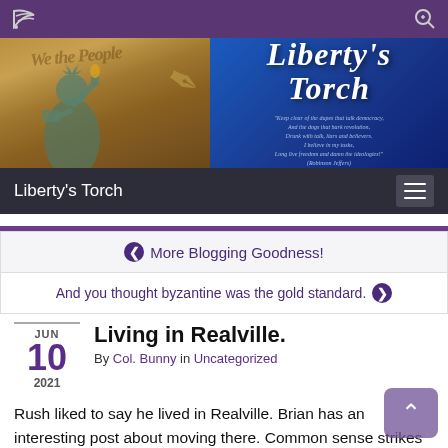Liberty's Torch – website header with navigation bar
[Figure (illustration): Liberty's Torch website banner: left half shows Statue of Liberty and We the People parchment background in golden-brown tones; right half shows 'Liberty's Torch' in cursive script on blue gradient background with a short quote in small italic text]
Liberty's Torch
❮ More Blogging Goodness!
And you thought byzantine was the gold standard. ❯
JUN 10 2021
Living in Realville.
By Col. Bunny in Uncategorized
Rush liked to say he lived in Realville. Brian has an interesting post about moving there. Common sense strikes again.